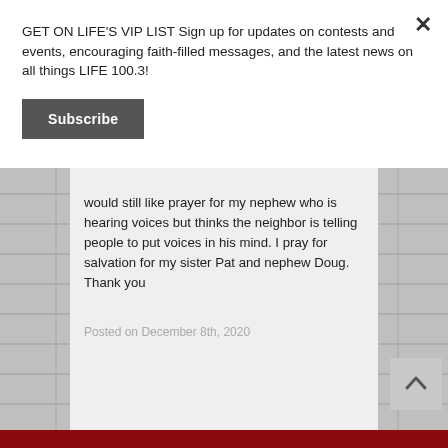GET ON LIFE'S VIP LIST Sign up for updates on contests and events, encouraging faith-filled messages, and the latest news on all things LIFE 100.3!
Subscribe
would still like prayer for my nephew who is hearing voices but thinks the neighbor is telling people to put voices in his mind. I pray for salvation for my sister Pat and nephew Doug. Thank you
Posted on December 8th, 2020